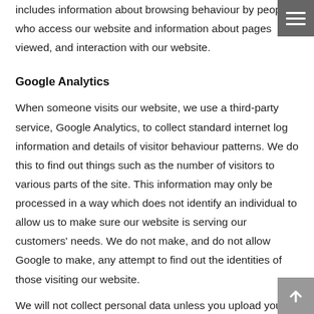includes information about browsing behaviour by people who access our website and information about pages viewed, and interaction with our website.
Google Analytics
When someone visits our website, we use a third-party service, Google Analytics, to collect standard internet log information and details of visitor behaviour patterns. We do this to find out things such as the number of visitors to various parts of the site. This information may only be processed in a way which does not identify an individual to allow us to make sure our website is serving our customers' needs. We do not make, and do not allow Google to make, any attempt to find out the identities of those visiting our website.
We will not collect personal data unless you upload your CV